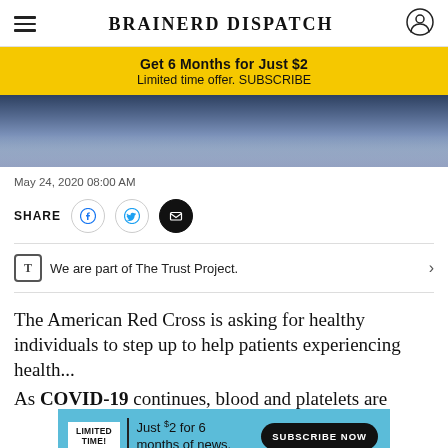BRAINERD DISPATCH
Get 6 Months for Just $2
Limited time offer. SUBSCRIBE
[Figure (photo): Partial view of a person in blue/purple medical scrubs]
May 24, 2020 08:00 AM
SHARE
We are part of The Trust Project.
The American Red Cross is asking for healthy individuals to step up to help patients experiencing health...
As COVID-19 continues, blood and platelets are
Just $2 for 6 months of news. SUBSCRIBE NOW